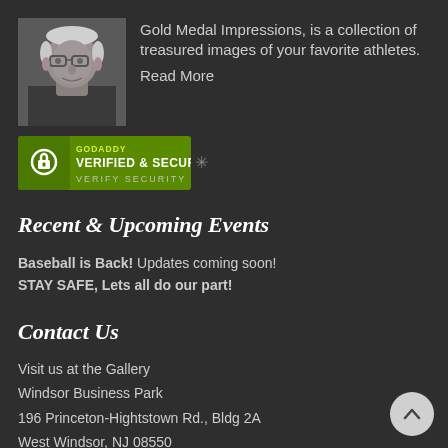[Figure (photo): Black and white portrait photo of an elderly man with glasses]
Gold Medal Impressions, is a collection of treasured images of your favorite athletes. Read More
[Figure (logo): GoDaddy Verified & Secured badge with lock icon and 'VERIFY SECURITY' text]
Recent & Upcoming Events
Baseball is Back! Updates coming soon!
STAY SAFE, Lets all do our part!
Contact Us
Visit us at the Gallery
Windsor Business Park
196 Princeton-Hightstown Rd., Bldg 2A
West Windsor, NJ 08550

phone: 609-606-9001